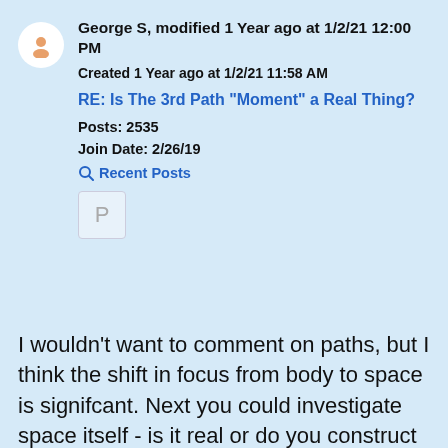George S, modified 1 Year ago at 1/2/21 12:00 PM
Created 1 Year ago at 1/2/21 11:58 AM
RE: Is The 3rd Path "Moment" a Real Thing?
Posts: 2535
Join Date: 2/26/19
Recent Posts
P
I wouldn't want to comment on paths, but I think the shift in focus from body to space is signifcant. Next you could investigate space itself - is it real or do you construct your sense of it? (or both - no need to answer, just something to think about)